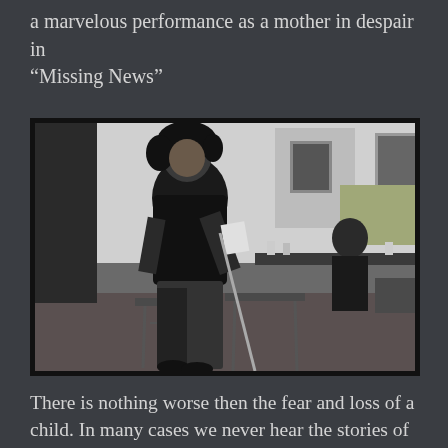a marvelous performance as a mother in despair in “Missing News”
[Figure (photo): Black and white photo of a woman standing and holding papers, appearing to perform or speak in a room with folding chairs and a table where another person is seated in the background.]
There is nothing worse then the fear and loss of a child. In many cases we never hear the stories of these children but we do see there faces on